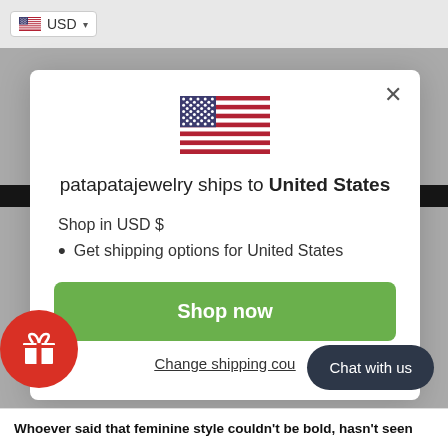USD ▾
[Figure (screenshot): Modal popup on patapatajewelry website showing a US flag, shipping destination text, shop now button, and change shipping country link]
patapatajewelry ships to United States
Shop in USD $
Get shipping options for United States
Shop now
Change shipping cou...
Chat with us
Whoever said that feminine style couldn't be bold, hasn't seen